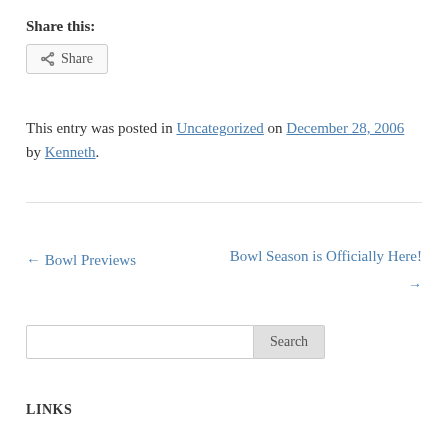Share this:
Share
This entry was posted in Uncategorized on December 28, 2006 by Kenneth.
← Bowl Previews
Bowl Season is Officially Here! →
Search
LINKS